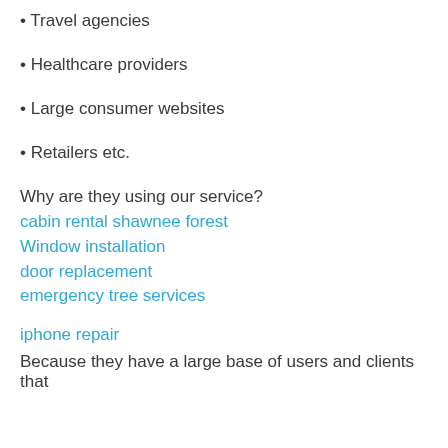• Travel agencies
• Healthcare providers
• Large consumer websites
• Retailers etc.
Why are they using our service?
cabin rental shawnee forest
Window installation
door replacement
emergency tree services
iphone repair
Because they have a large base of users and clients that